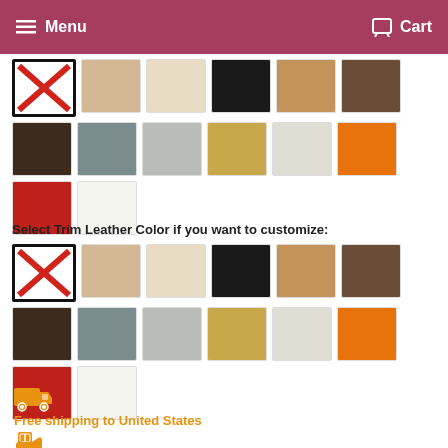Menu  Cart
[Figure (other): Grid of leather color swatches (row 1: X/none, beige, cream, black, tan, brown; row 2: dark brown, slate, light gray, gold, off-white, orange; row 3: red, white)]
Select Trim Leather Color if you want to customize:
[Figure (other): Grid of trim leather color swatches (row 1: X/none, beige, cream, black, tan, brown; row 2: dark brown, slate, light gray, gold, off-white, orange; row 3: red, white)]
[Figure (other): Orange delivery truck icon]
Free shipping to United States
[Figure (other): Orange package delivery icon]